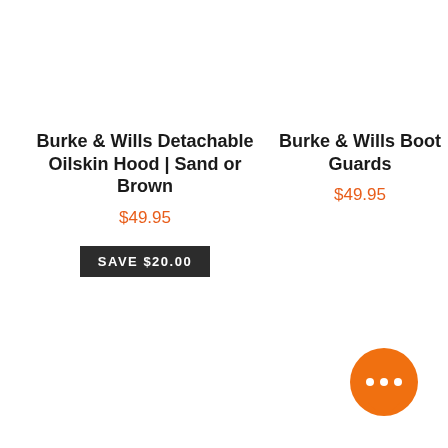Burke & Wills Detachable Oilskin Hood | Sand or Brown
$49.95
SAVE $20.00
Burke & Wills Boot Guards
$49.95
[Figure (illustration): Orange circular chat bubble icon with three dots]